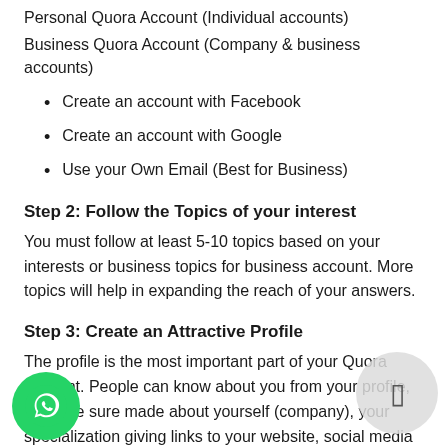Personal Quora Account (Individual accounts)
Business Quora Account (Company & business accounts)
Create an account with Facebook
Create an account with Google
Use your Own Email (Best for Business)
Step 2: Follow the Topics of your interest
You must follow at least 5-10 topics based on your interests or business topics for business account. More topics will help in expanding the reach of your answers.
Step 3: Create an Attractive Profile
The profile is the most important part of your Quora account. People can know about you from your profile, so make sure made about yourself (company), your specialization giving links to your website, social media profiles will useful in generating traffic & leads. You must...